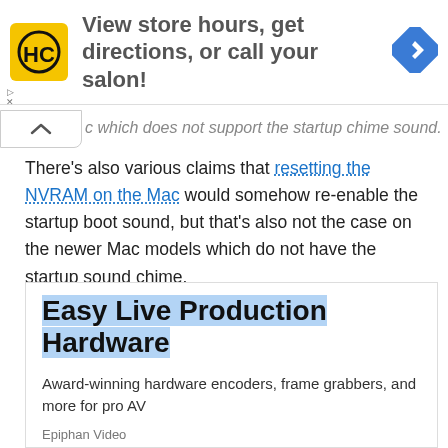[Figure (other): Top advertisement banner with HC logo, text 'View store hours, get directions, or call your salon!' and blue navigation arrow icon]
c which does not support the startup chime sound.
There's also various claims that resetting the NVRAM on the Mac would somehow re-enable the startup boot sound, but that's also not the case on the newer Mac models which do not have the startup sound chime.
[Figure (other): Bottom advertisement: Easy Live Production Hardware. Award-winning hardware encoders, frame grabbers, and more for pro AV. Epiphan Video.]